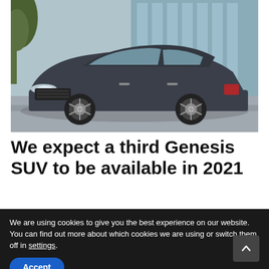[Figure (photo): A dark gray luxury sedan (Genesis G90) driving on a road in front of a modern glass building with trees visible in the background. The car is shown from a front three-quarter angle.]
We expect a third Genesis SUV to be available in 2021
We are using cookies to give you the best experience on our website.
You can find out more about which cookies we are using or switch them off in settings.
Accept